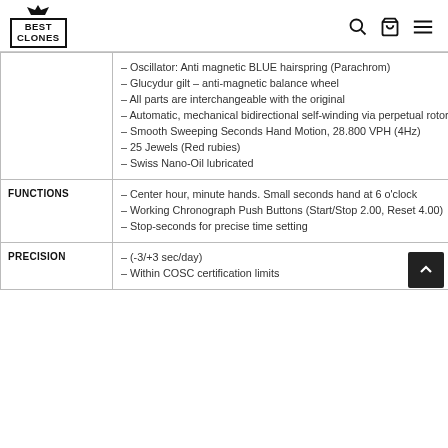BEST CLONES
|  |  |
| --- | --- |
|  | – Oscillator: Anti magnetic BLUE hairspring (Parachrom)
– Glucydur gilt – anti-magnetic balance wheel
– All parts are interchangeable with the original
– Automatic, mechanical bidirectional self-winding via perpetual rotor
– Smooth Sweeping Seconds Hand Motion, 28.800 VPH (4Hz)
– 25 Jewels (Red rubies)
– Swiss Nano-Oil lubricated |
| FUNCTIONS | – Center hour, minute hands. Small seconds hand at 6 o'clock
– Working Chronograph Push Buttons (Start/Stop 2.00, Reset 4.00)
– Stop-seconds for precise time setting |
| PRECISION | – (-3/+3 sec/day)
– Within COSC certification limits |